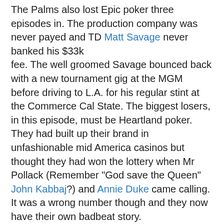The Palms also lost Epic poker three episodes in. The production company was never payed and TD Matt Savage never banked his $33k fee. The well groomed Savage bounced back with a new tournament gig at the MGM before driving to L.A. for his regular stint at the Commerce Cal State. The biggest losers, in this episode, must be Heartland poker. They had built up their brand in unfashionable mid America casinos but thought they had won the lottery when Mr Pollack (Remember "God save the Queen" John Kabbaj?) and Annie Duke came calling. It was a wrong number though and they now have their own badbeat story.
Matt Savage is experimenting at the Cal State. He had the "All in or fold" tournament that lasted from 6pm to 10pm and "eternament" that only gave players $125 in chips. The blinds started at $5-$5 with two hour levels. 131 payed $100 to enter and only 65 survived the first level. Another was for twitter fans, of the Commerce, only and Mel Judahs cashout wraps up the series.
Stay two nights at most MGM properties, Bellagio is not on the list, receive two free buffets. The 24 hour buffet pass is now in its third year at Harrahs. The price has risen to $49 but is still good value on a quiet weekday. Gordon Ramsey has opened a